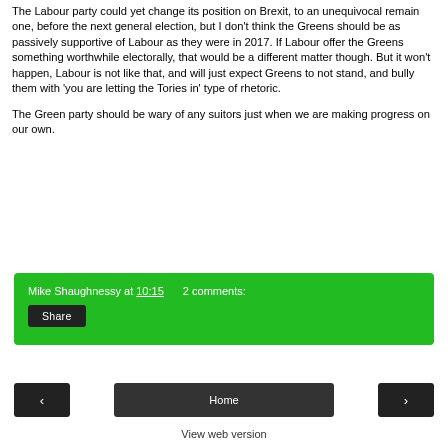The Labour party could yet change its position on Brexit, to an unequivocal remain one, before the next general election, but I don't think the Greens should be as passively supportive of Labour as they were in 2017. If Labour offer the Greens something worthwhile electorally, that would be a different matter though. But it won't happen, Labour is not like that, and will just expect Greens to not stand, and bully them with 'you are letting the Tories in' type of rhetoric.
The Green party should be wary of any suitors just when we are making progress on our own.
Mike Shaughnessy at 10:15   2 comments:
Share
< Home >
View web version